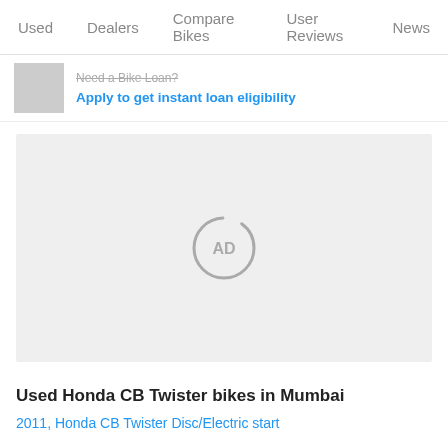Used   Dealers   Compare Bikes   User Reviews   News
Need a Bike Loan?
Apply to get instant loan eligibility
[Figure (other): Advertisement placeholder with AD icon in a light gray box]
Used Honda CB Twister bikes in Mumbai
2011, Honda CB Twister Disc/Electric start